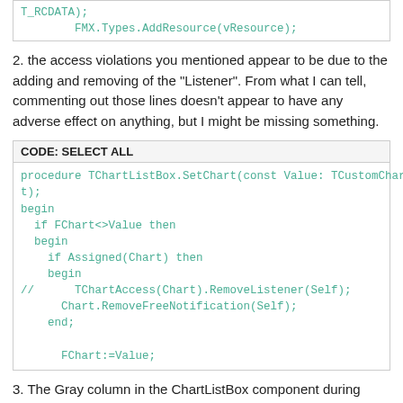T_RCDATA);
        FMX.Types.AddResource(vResource);
2. the access violations you mentioned appear to be due to the adding and removing of the "Listener". From what I can tell, commenting out those lines doesn't appear to have any adverse effect on anything, but I might be missing something.
CODE: SELECT ALL
procedure TChartListBox.SetChart(const Value: TCustomChart);
begin
  if FChart<>Value then
  begin
    if Assigned(Chart) then
    begin
//        TChartAccess(Chart).RemoveListener(Self);
      Chart.RemoveFreeNotification(Self);
    end;

    FChart:=Value;
3. The Gray column in the ChartListBox component during runtime is from the Icon component in the ListBoxItem. Apparently the correct bitmap is not being loaded in the "CheckIcon" routine. Note: did not look father into this, as I don't need that Icon showing.